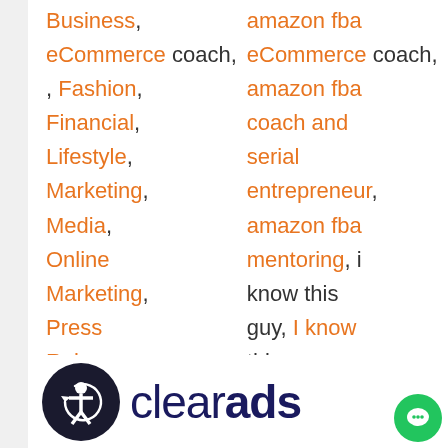Business, amazon fba eCommerce coach, , Fashion, amazon fba coach and Financial, serial Lifestyle, entrepreneur, Marketing, amazon fba Media, mentoring, i Online know this Marketing, guy, I know Press this guy Release podcast, marketing, podcast
[Figure (logo): ClearAds logo with dark circular accessibility icon and bold navy clearads text]